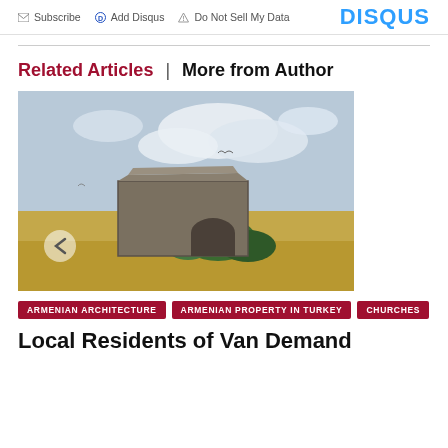Subscribe | Add Disqus | Do Not Sell My Data | DISQUS
Related Articles | More from Author
[Figure (photo): Ruins of an old stone Armenian church building in an open landscape with dry grass and cloudy sky]
ARMENIAN ARCHITECTURE
ARMENIAN PROPERTY IN TURKEY
CHURCHES
Local Residents of Van Demand